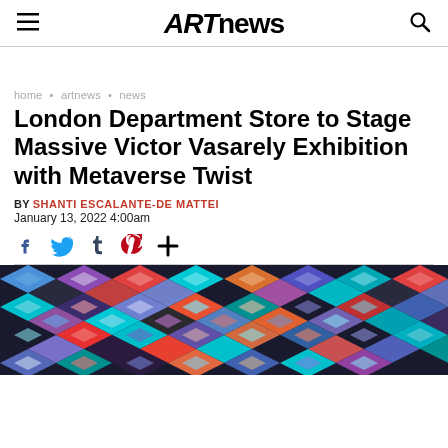ARTnews
home • artnews • news
London Department Store to Stage Massive Victor Vasarely Exhibition with Metaverse Twist
BY SHANTI ESCALANTE-DE MATTEI
January 13, 2022 4:00am
[Figure (illustration): Victor Vasarely op-art geometric pattern with diamonds and interlocking shapes in cyan, blue, purple, red, orange, and dark brown/black colors]